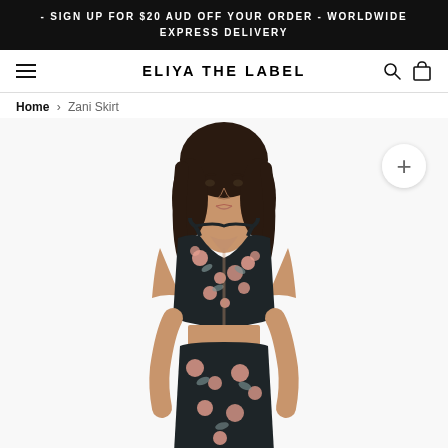- SIGN UP FOR $20 AUD OFF YOUR ORDER - WORLDWIDE EXPRESS DELIVERY
ELIYA THE LABEL
Home › Zani Skirt
[Figure (photo): Fashion model wearing a dark floral print crop top and skirt set (Zani Skirt) with pink flower pattern on black background. Model has long dark hair and is photographed from waist up showing the outfit detail.]